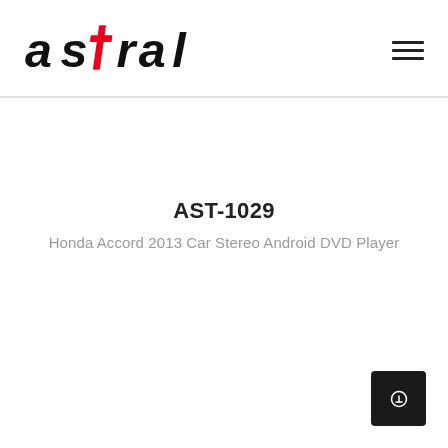[Figure (logo): Astral brand logo in black italic lettering with a red stylized 't' cross element]
AST-1029
Honda Accord 2013 Car Stereo Android DVD Player